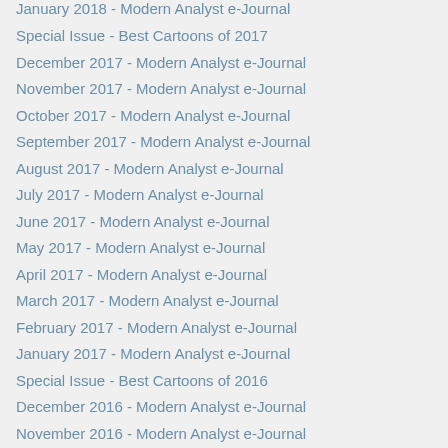January 2018 - Modern Analyst e-Journal
Special Issue - Best Cartoons of 2017
December 2017 - Modern Analyst e-Journal
November 2017 - Modern Analyst e-Journal
October 2017 - Modern Analyst e-Journal
September 2017 - Modern Analyst e-Journal
August 2017 - Modern Analyst e-Journal
July 2017 - Modern Analyst e-Journal
June 2017 - Modern Analyst e-Journal
May 2017 - Modern Analyst e-Journal
April 2017 - Modern Analyst e-Journal
March 2017 - Modern Analyst e-Journal
February 2017 - Modern Analyst e-Journal
January 2017 - Modern Analyst e-Journal
Special Issue - Best Cartoons of 2016
December 2016 - Modern Analyst e-Journal
November 2016 - Modern Analyst e-Journal